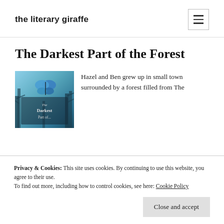the literary giraffe
The Darkest Part of the Forest
[Figure (illustration): Book cover of 'The Darkest Part of the Forest' featuring a blue butterfly and dark forest imagery with stylized title text]
Hazel and Ben grew up in small town surrounded by a forest filled from The
Privacy & Cookies: This site uses cookies. By continuing to use this website, you agree to their use.
To find out more, including how to control cookies, see here: Cookie Policy
Close and accept